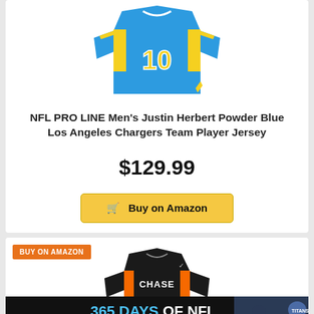[Figure (photo): NFL PRO LINE Chargers #10 powder blue jersey displayed as product image, top portion visible]
NFL PRO LINE Men's Justin Herbert Powder Blue Los Angeles Chargers Team Player Jersey
$129.99
Buy on Amazon
BUY ON AMAZON
[Figure (photo): Black Bengals Chase #1 jersey product image, partially visible]
[Figure (photo): FantasyGuru advertisement banner: 365 DAYS OF NFL FOR TEN CENTS A DAY with football player images]